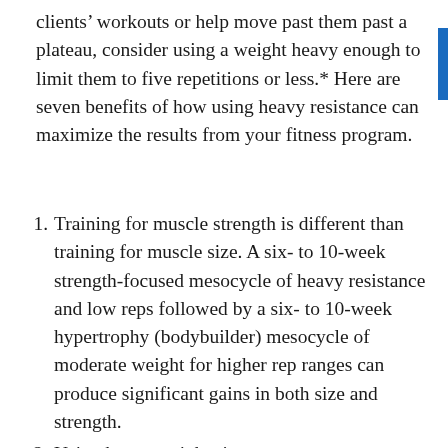clients' workouts or help move past them past a plateau, consider using a weight heavy enough to limit them to five repetitions or less.* Here are seven benefits of how using heavy resistance can maximize the results from your fitness program.
Training for muscle strength is different than training for muscle size. A six- to 10-week strength-focused mesocycle of heavy resistance and low reps followed by a six- to 10-week hypertrophy (bodybuilder) mesocycle of moderate weight for higher rep ranges can produce significant gains in both size and strength.
Using heavy weights increases